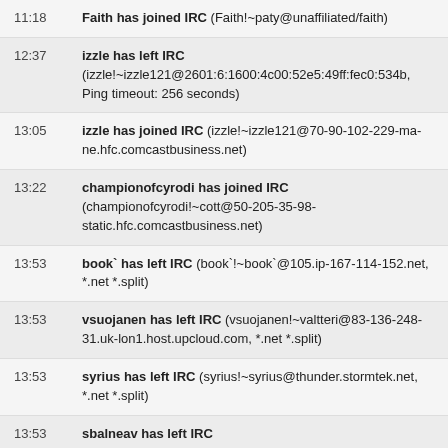11:18 Faith has joined IRC (Faith!~paty@unaffiliated/faith)
12:37 izzle has left IRC (izzle!~izzle121@2601:6:1600:4c00:52e5:49ff:fec0:534b, Ping timeout: 256 seconds)
13:05 izzle has joined IRC (izzle!~izzle121@70-90-102-229-ma-ne.hfc.comcastbusiness.net)
13:22 championofcyrodi has joined IRC (championofcyrodi!~cott@50-205-35-98-static.hfc.comcastbusiness.net)
13:53 book` has left IRC (book`!~book`@105.ip-167-114-152.net, *.net *.split)
13:53 vsuojanen has left IRC (vsuojanen!~valtteri@83-136-248-31.uk-lon1.host.upcloud.com, *.net *.split)
13:53 syrius has left IRC (syrius!~syrius@thunder.stormtek.net, *.net *.split)
13:53 sbalneav has left IRC (sbalneav!~sbalneav@mail.legalaid.mb.ca, *.net *.split)